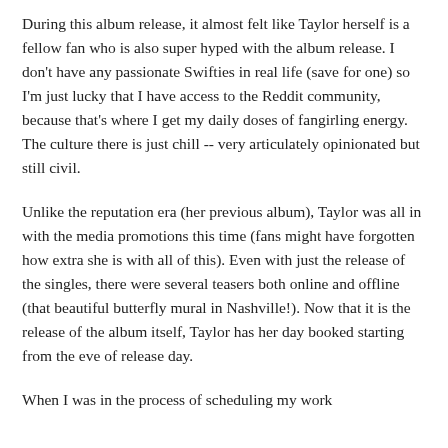During this album release, it almost felt like Taylor herself is a fellow fan who is also super hyped with the album release. I don't have any passionate Swifties in real life (save for one) so I'm just lucky that I have access to the Reddit community, because that's where I get my daily doses of fangirling energy. The culture there is just chill -- very articulately opinionated but still civil.
Unlike the reputation era (her previous album), Taylor was all in with the media promotions this time (fans might have forgotten how extra she is with all of this). Even with just the release of the singles, there were several teasers both online and offline (that beautiful butterfly mural in Nashville!). Now that it is the release of the album itself, Taylor has her day booked starting from the eve of release day.
When I was in the process of scheduling my work